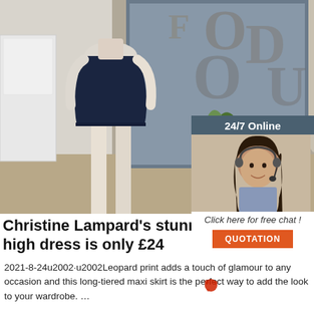[Figure (photo): Mannequin wearing a navy blue bodycon mini dress in a fashion store setting with a plant and decorative letters in background]
[Figure (photo): Advertisement widget: 24/7 Online support with a woman wearing a headset, with Click here for free chat and QUOTATION button]
Christine Lampard's stunning high dress is only £24
2021-8-24u2002·u2002Leopard print adds a touch of glamour to any occasion and this long-tiered maxi skirt is the perfect way to add the look to your wardrobe. …